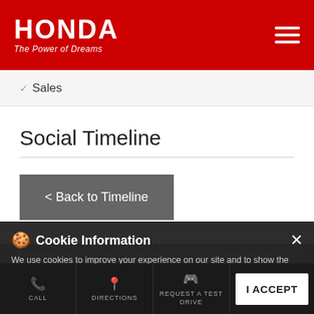HONDA The Power of Dreams
✓ Sales
Social Timeline
< Back to Timeline
Cookie Information
We use cookies to improve your experience on our site and to show the relevant content.
...Mitigation (RDM) in the New Honda City e:HEV provides advance warnings through audio and visual alerts to driver when the...
CALL  DIRECTIONS  REQUEST A TEST DRIVE  I ACCEPT